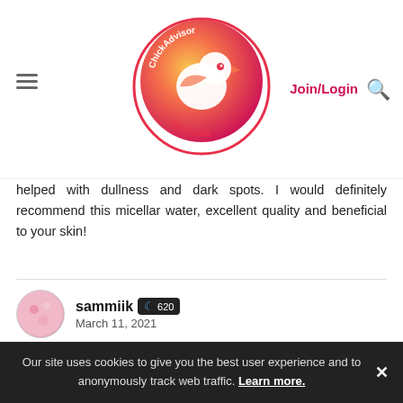[Figure (logo): ChickAdvisor logo — circular gradient bird icon with text 'SINCE 2006']
Join/Login
helped with dullness and dark spots. I would definitely recommend this micellar water, excellent quality and beneficial to your skin!
sammiik  620
March 11, 2021

Value / Valeur ★★★★☆
Quality / Qualité ★★★★☆
Effectiveness / Efficacité ★★★★☆
Recommended? You Betcha!

4.0/5
Our site uses cookies to give you the best user experience and to anonymously track web traffic. Learn more.